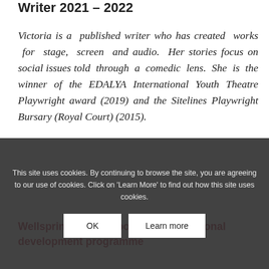Writer 2021 – 2022
Victoria is a published writer who has created works for stage, screen and audio. Her stories focus on social issues told through a comedic lens. She is the winner of the EDALYA International Youth Theatre Playwright award (2019) and the Sitelines Playwright Bursary (Royal Court) (2015).
Wellspring & Vital Xposure's professional development programme
This site uses cookies. By continuing to browse the site, you are agreeing to our use of cookies. Click on 'Learn More' to find out how this site uses cookies.